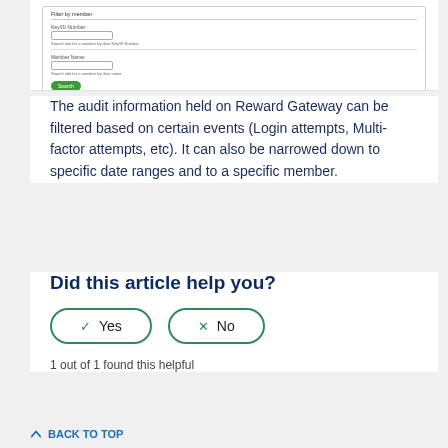[Figure (screenshot): Screenshot of a web form with fields: Filter by member, Key/ID Number (with input box and hint text 'Search info for a member by their Key/ID Number'), Member Name (with input box and hint text 'Search info for a member by their name'), and a green Search button.]
The audit information held on Reward Gateway can be filtered based on certain events (Login attempts, Multi-factor attempts, etc). It can also be narrowed down to specific date ranges and to a specific member.
Did this article help you?
1 out of 1 found this helpful
BACK TO TOP